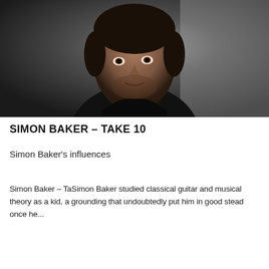[Figure (photo): Black and white portrait photo of Simon Baker, a man in a dark shirt looking slightly to the side, against a blurred grey background]
SIMON BAKER – TAKE 10
Simon Baker's influences
Simon Baker – TaSimon Baker studied classical guitar and musical theory as a kid, a grounding that undoubtedly put him in good stead once he...